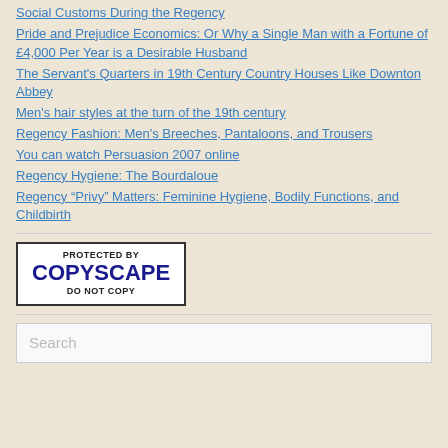Social Customs During the Regency
Pride and Prejudice Economics: Or Why a Single Man with a Fortune of £4,000 Per Year is a Desirable Husband
The Servant's Quarters in 19th Century Country Houses Like Downton Abbey
Men's hair styles at the turn of the 19th century
Regency Fashion: Men's Breeches, Pantaloons, and Trousers
You can watch Persuasion 2007 online
Regency Hygiene: The Bourdaloue
Regency “Privy” Matters: Feminine Hygiene, Bodily Functions, and Childbirth
[Figure (logo): Copyscape protected badge: PROTECTED BY COPYSCAPE DO NOT COPY]
Search